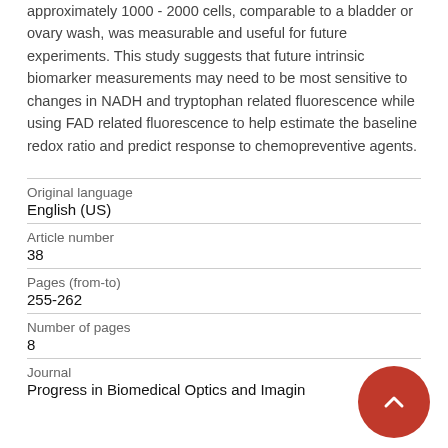approximately 1000 - 2000 cells, comparable to a bladder or ovary wash, was measurable and useful for future experiments. This study suggests that future intrinsic biomarker measurements may need to be most sensitive to changes in NADH and tryptophan related fluorescence while using FAD related fluorescence to help estimate the baseline redox ratio and predict response to chemopreventive agents.
| Original language | English (US) |
| Article number | 38 |
| Pages (from-to) | 255-262 |
| Number of pages | 8 |
| Journal | Progress in Biomedical Optics and Imagin |